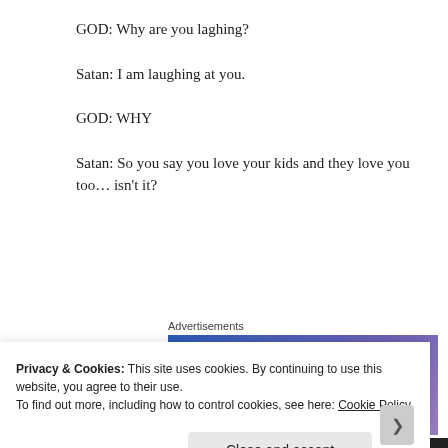GOD: Why are you laghing?
Satan: I am laughing at you.
GOD: WHY
Satan: So you say you love your kids and they love you too… isn't it?
Advertisements
[Figure (other): Advertisement banner with gradient blue-purple background reading 'Simplified pricing for everything you need.' with an arch graphic.]
Privacy & Cookies: This site uses cookies. By continuing to use this website, you agree to their use.
To find out more, including how to control cookies, see here: Cookie Policy
Close and accept